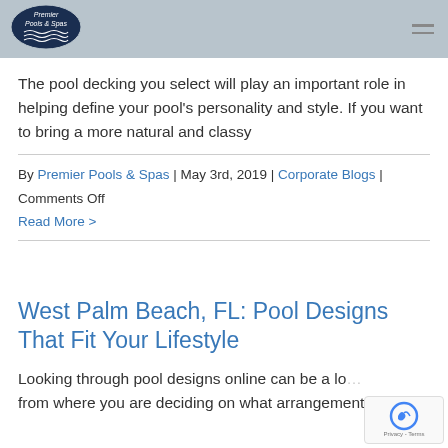[Figure (logo): Premier Pools & Spas oval logo with waves, dark navy background]
The pool decking you select will play an important role in helping define your pool's personality and style. If you want to bring a more natural and classy
By Premier Pools & Spas | May 3rd, 2019 | Corporate Blogs | Comments Off
Read More >
West Palm Beach, FL: Pool Designs That Fit Your Lifestyle
Looking through pool designs online can be a lo... from where you are deciding on what arrangement fo...